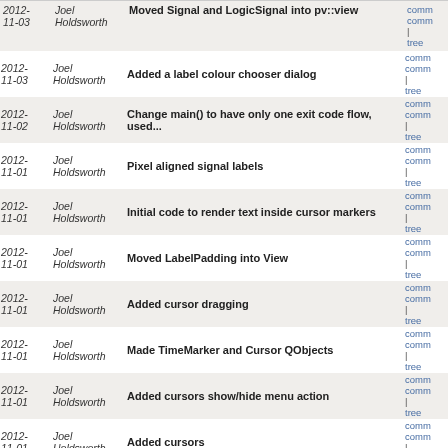| Date | Author | Message | Links |
| --- | --- | --- | --- |
| 2012-11-03 | Joel Holdsworth | Moved Signal and LogicSignal into pv::view | comm
comm
| tree |
| 2012-11-03 | Joel Holdsworth | Added a label colour chooser dialog | comm
comm
| tree |
| 2012-11-02 | Joel Holdsworth | Change main() to have only one exit code flow, used... | comm
comm
| tree |
| 2012-11-01 | Joel Holdsworth | Pixel aligned signal labels | comm
comm
| tree |
| 2012-11-01 | Joel Holdsworth | Initial code to render text inside cursor markers | comm
comm
| tree |
| 2012-11-01 | Joel Holdsworth | Moved LabelPadding into View | comm
comm
| tree |
| 2012-11-01 | Joel Holdsworth | Added cursor dragging | comm
comm
| tree |
| 2012-11-01 | Joel Holdsworth | Made TimeMarker and Cursor QObjects | comm
comm
| tree |
| 2012-11-01 | Joel Holdsworth | Added cursors show/hide menu action | comm
comm
| tree |
| 2012-11-01 | Joel Holdsworth | Added cursors | comm
comm
| tree |
| 2012-11-01 | Joel Holdsworth | Documented scale, offset, set_scale_offset, _scale... | comm
comm
| tree |
next
Qt based LA/scope/MSO GUI